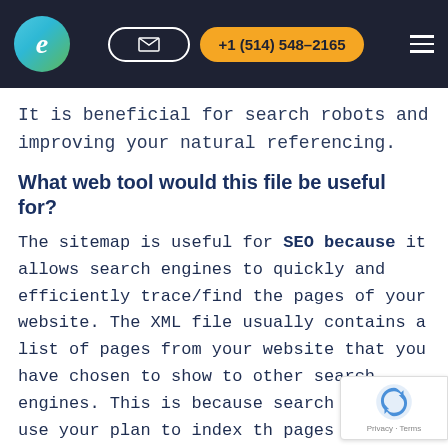e +1 (514) 548-2165
It is beneficial for search robots and improving your natural referencing.
What web tool would this file be useful for?
The sitemap is useful for SEO because it allows search engines to quickly and efficiently trace/find the pages of your website. The XML file usually contains a list of pages from your website that you have chosen to show to other search engines. This is because search sites use your plan to index the pages available on your website. The structur…